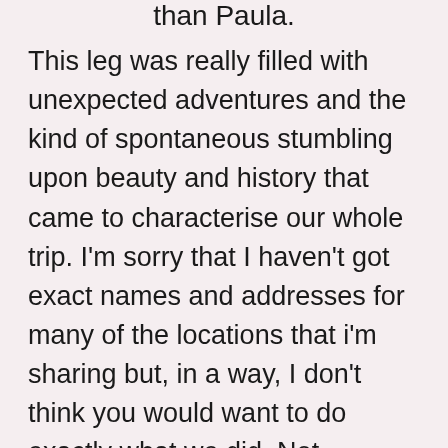than Paula.
This leg was really filled with unexpected adventures and the kind of spontaneous stumbling upon beauty and history that came to characterise our whole trip. I'm sorry that I haven't got exact names and addresses for many of the locations that i'm sharing but, in a way, I don't think you would want to do exactly what we did. Not because it was sub par in any way, but because I think that a road trip like the NC500 is a really personal one. You don't feel like you're one of a million people like you do in tourist locations like the Lakes District in